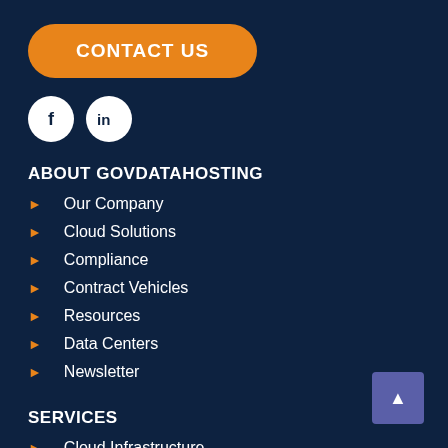[Figure (other): Orange rounded button labeled CONTACT US]
[Figure (other): Social media icons: Facebook (f) and LinkedIn (in) as white circles on dark background]
ABOUT GOVDATAHOSTING
Our Company
Cloud Solutions
Compliance
Contract Vehicles
Resources
Data Centers
Newsletter
SERVICES
Cloud Infrastructure
Managed Security
[Figure (other): Scroll to top button with upward arrow, purple square in bottom right corner]